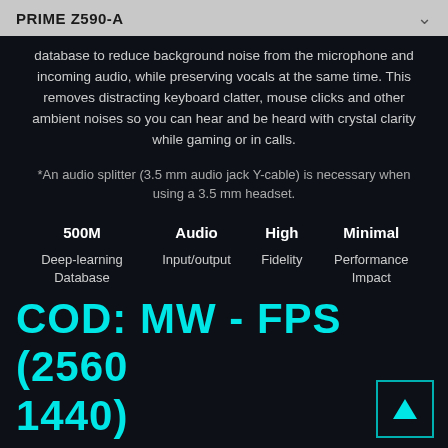PRIME Z590-A
database to reduce background noise from the microphone and incoming audio, while preserving vocals at the same time. This removes distracting keyboard clatter, mouse clicks and other ambient noises so you can hear and be heard with crystal clarity while gaming or in calls.
*An audio splitter (3.5 mm audio jack Y-cable) is necessary when using a 3.5 mm headset.
| 500M | Audio | High | Minimal |
| --- | --- | --- | --- |
| Deep-learning Database | Input/output | Fidelity | Performance Impact |
COD: MW - FPS (2560 1440)